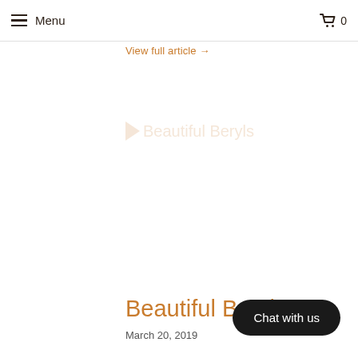Menu  0
View full article →
[Figure (other): Watermark logo area with play triangle icon and faded 'Beautiful Beryls' text]
Beautiful Beryls
March 20, 2019
Chat with us